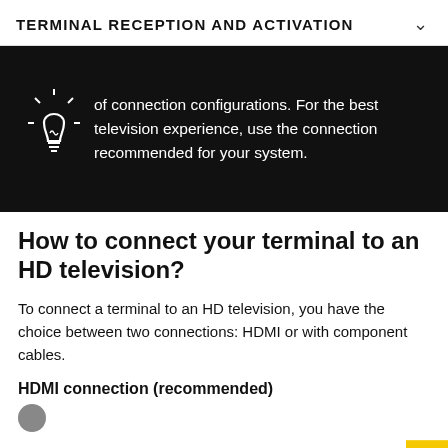TERMINAL RECEPTION AND ACTIVATION
[Figure (illustration): Black box with a lightbulb icon on the left and text on the right reading: 'of connection configurations. For the best television experience, use the connection recommended for your system.']
How to connect your terminal to an HD television?
To connect a terminal to an HD television, you have the choice between two connections: HDMI or with component cables.
HDMI connection (recommended)